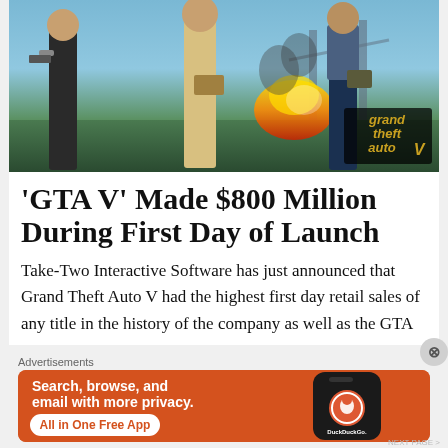[Figure (photo): Grand Theft Auto V promotional artwork showing three characters standing with weapons and bags, with a city background and fire. GTA V logo visible in bottom right corner.]
'GTA V' Made $800 Million During First Day of Launch
Take-Two Interactive Software has just announced that Grand Theft Auto V had the highest first day retail sales of any title in the history of the company as well as the GTA
Advertisements
[Figure (photo): DuckDuckGo advertisement banner with orange background. Text reads 'Search, browse, and email with more privacy. All in One Free App'. Shows a phone mockup with DuckDuckGo logo.]